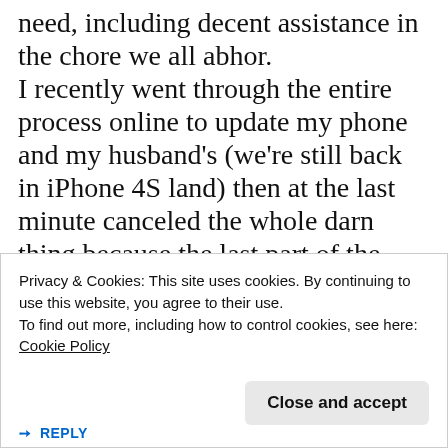need, including decent assistance in the chore we all abhor. I recently went through the entire process online to update my phone and my husband's (we're still back in iPhone 4S land) then at the last minute canceled the whole darn thing because the last part of the agreement confused me. And help from AT&T only confuses
Privacy & Cookies: This site uses cookies. By continuing to use this website, you agree to their use. To find out more, including how to control cookies, see here: Cookie Policy
Close and accept
REPLY